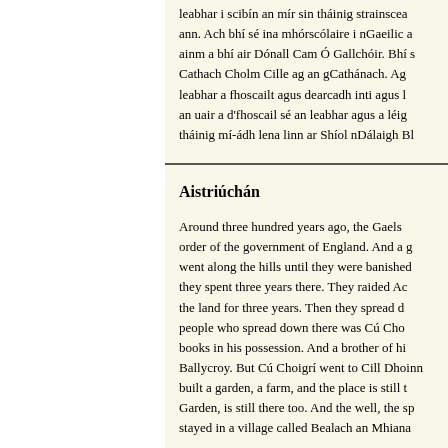leabhar i scibín an mír sin tháinig strainscea ann. Ach bhí sé ina mhórscólaire i nGaeilic a ainm a bhí air Dónall Cam Ó Gallchóir. Bhí s Cathach Cholm Cille ag an gCathánach. Ag leabhar a fhoscailt agus dearcadh inti agus l an uair a d'fhoscail sé an leabhar agus a léig tháinig mí-ádh lena linn ar Shíol nDálaigh Bl
Aistriúchán
Around three hundred years ago, the Gaels order of the government of England. And a g went along the hills until they were banished they spent three years there. They raided Ac the land for three years. Then they spread d people who spread down there was Cú Cho books in his possession. And a brother of hi Ballycroy. But Cú Choigrí went to Cill Dhoin built a garden, a farm, and the place is still t Garden, is still there too. And the well, the sp stayed in a village called Bealach an Mhiana